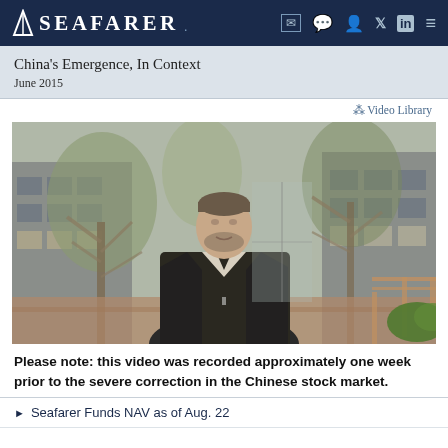Seafarer
China's Emergence, In Context
June 2015
⋈ Video Library
[Figure (photo): A man in a dark blazer standing in front of a building with trees, speaking to camera — video thumbnail for 'China's Emergence, In Context' June 2015]
Please note: this video was recorded approximately one week prior to the severe correction in the Chinese stock market.
▶ Seafarer Funds NAV as of Aug. 22